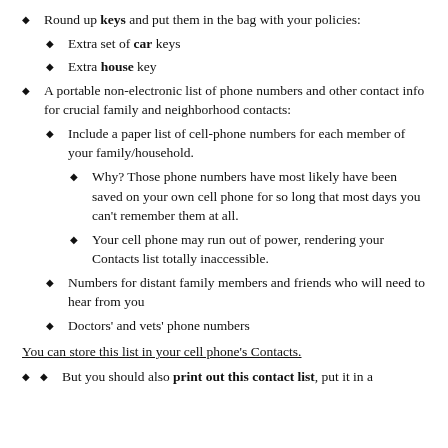Round up keys and put them in the bag with your policies:
Extra set of car keys
Extra house key
A portable non-electronic list of phone numbers and other contact info for crucial family and neighborhood contacts:
Include a paper list of cell-phone numbers for each member of your family/household.
Why? Those phone numbers have most likely have been saved on your own cell phone for so long that most days you can't remember them at all.
Your cell phone may run out of power, rendering your Contacts list totally inaccessible.
Numbers for distant family members and friends who will need to hear from you
Doctors' and vets' phone numbers
You can store this list in your cell phone's Contacts.
But you should also print out this contact list, put it in a